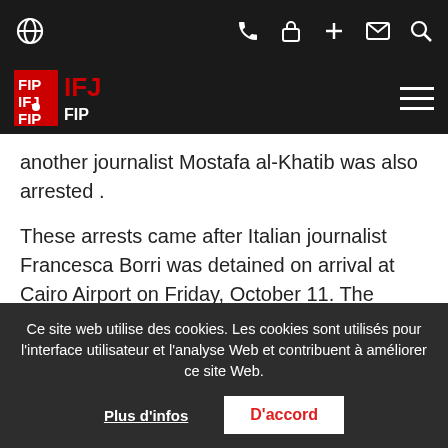IFJ website navigation bar with globe, phone, lock, plus, mail, and search icons
[Figure (logo): IFJ/FIJ logo in red and white on dark background, with hamburger menu icon on right]
another journalist Mostafa al-Khatib was also arrested .
These arrests came after Italian journalist Francesca Borri was detained on arrival at Cairo Airport on Friday, October 11. The journalist, who was released and sent back to Italy hours later said that she was denied entry to the country by Egyptian national security officers with no official reason. She claimed she was arrested because of her reporting on the case of an Italian student who was
Ce site web utilise des cookies. Les cookies sont utilisés pour l'interface utilisateur et l'analyse Web et contribuent à améliorer ce site Web.
Plus d'infos
D'accord